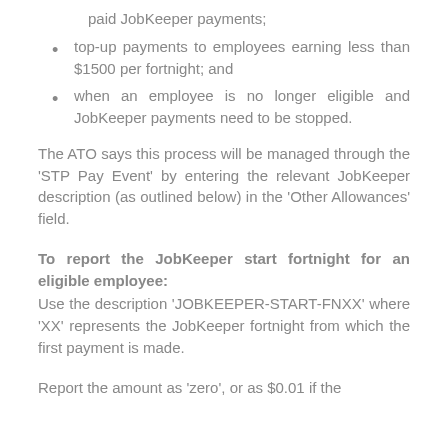paid JobKeeper payments;
top-up payments to employees earning less than $1500 per fortnight; and
when an employee is no longer eligible and JobKeeper payments need to be stopped.
The ATO says this process will be managed through the 'STP Pay Event' by entering the relevant JobKeeper description (as outlined below) in the 'Other Allowances' field.
To report the JobKeeper start fortnight for an eligible employee:
Use the description 'JOBKEEPER-START-FNXX' where 'XX' represents the JobKeeper fortnight from which the first payment is made.
Report the amount as 'zero', or as $0.01 if the software does not accept a zero amount.